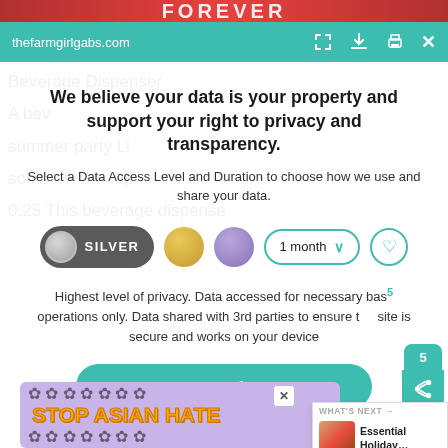[Figure (screenshot): Top banner with red background showing partial website header]
thefarmgirlgabs.com
We believe your data is your property and support your right to privacy and transparency.
Select a Data Access Level and Duration to choose how we use and share your data.
[Figure (infographic): Privacy consent control row with SILVER toggle button selected, gold circle, purple circle, 1 month dropdown, and heart icon]
Highest level of privacy. Data accessed for necessary basic operations only. Data shared with 3rd parties to ensure the site is secure and works on your device
[Figure (infographic): Save my preferences teal rounded button]
[Figure (infographic): Stop Asian Hate advertisement banner with purple background and orange bold text]